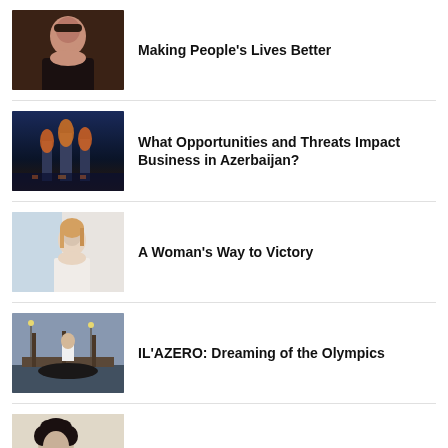[Figure (photo): Portrait of a woman in dark clothing against a warm dark background]
Making People's Lives Better
[Figure (photo): Aerial/skyline view of Baku, Azerbaijan at dusk with illuminated flame towers]
What Opportunities and Threats Impact Business in Azerbaijan?
[Figure (photo): Portrait of a blonde woman in a white top seated in a modern office]
A Woman's Way to Victory
[Figure (photo): Person in white clothing on a dock with gondolas in Venice-like setting]
IL'AZERO: Dreaming of the Olympics
[Figure (photo): Portrait of Mark Eliyahu with curly hair holding a musical instrument]
Mark Eliyahu: Music Without Borders